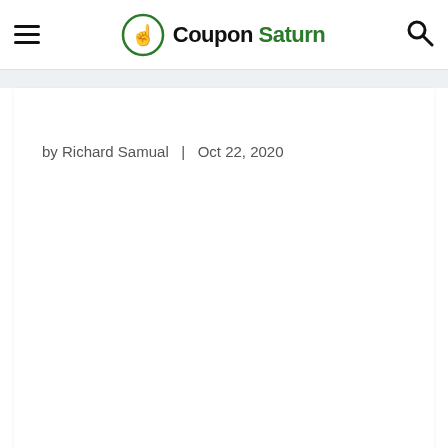Coupon Saturn
by Richard Samual  |  Oct 22, 2020